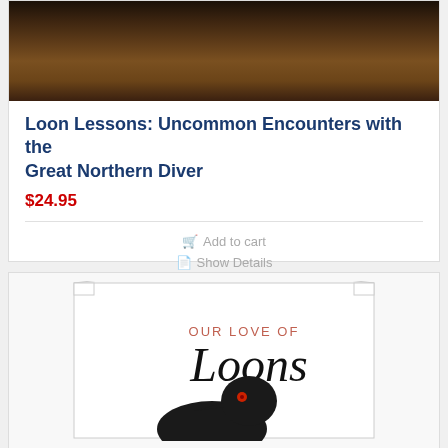[Figure (photo): Top portion of a bird (loon) on a nest made of dark grass/reeds, photographed from above]
Loon Lessons: Uncommon Encounters with the Great Northern Diver
$24.95
Add to cart
Show Details
[Figure (photo): Book cover of 'Our Love of Loons' showing the title text and a dark loon bird with a red eye against a white background with an arched frame design]